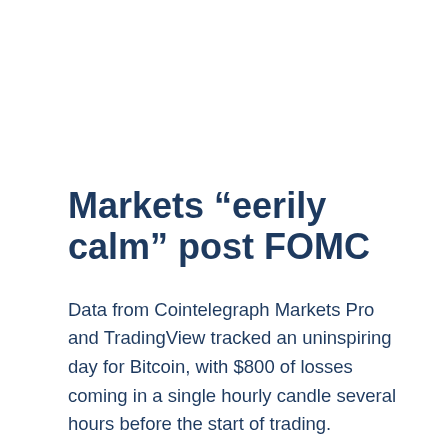Markets “eerily calm” post FOMC
Data from Cointelegraph Markets Pro and TradingView tracked an uninspiring day for Bitcoin, with $800 of losses coming in a single hourly candle several hours before the start of trading.
The largest cryptocurrency had avoided